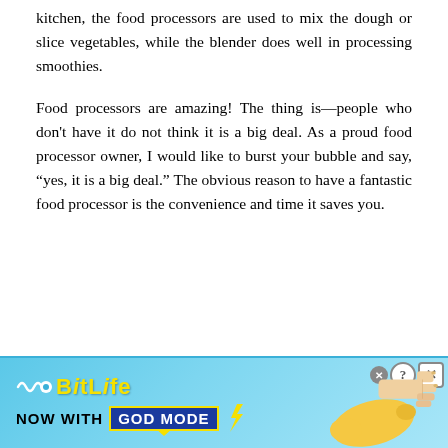kitchen, the food processors are used to mix the dough or slice vegetables, while the blender does well in processing smoothies.
Food processors are amazing! The thing is—people who don't have it do not think it is a big deal. As a proud food processor owner, I would like to burst your bubble and say, “yes, it is a big deal.” The obvious reason to have a fantastic food processor is the convenience and time it saves you.
[Figure (other): BitLife advertisement banner — 'BitLife NOW WITH GOD MODE' with lightning bolt graphic, pointing hand illustration, and close/help buttons]